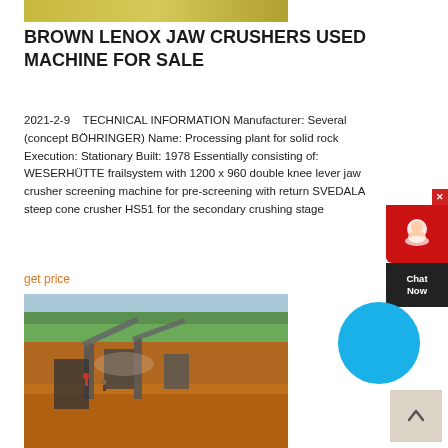[Figure (photo): Top banner image showing yellowish/gold toned industrial equipment or quarry scene]
BROWN LENOX JAW CRUSHERS USED MACHINE FOR SALE
2021-2-9   TECHNICAL INFORMATION Manufacturer: Several (concept BÖHRINGER) Name: Processing plant for solid rock Execution: Stationary Built: 1978 Essentially consisting of: WESERHÜTTE frailsystem with 1200 x 960 double knee lever jaw crusher screening machine for pre-screening with return SVEDALA steep cone crusher HS51 for the secondary crushing stage
get price
[Figure (photo): Aerial/elevated view of an open-air crushing plant with conveyor belts and machinery on red/orange dirt ground with workers visible and green trees in background]